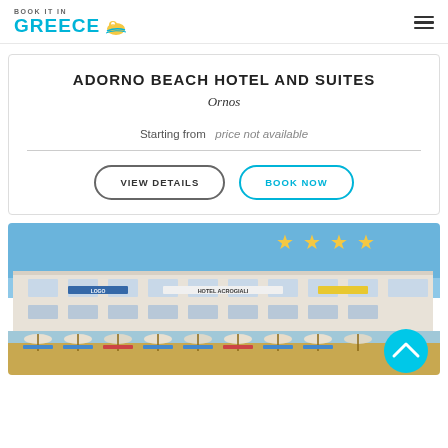BOOK IT IN GREECE
ADORNO BEACH HOTEL AND SUITES
Ornos
Starting from   price not available
VIEW DETAILS
BOOK NOW
[Figure (photo): 4-star hotel building labeled HOTEL ACROGIALI on a beachfront in Greece, with beach umbrellas and lounge chairs in front, blue sky above.]